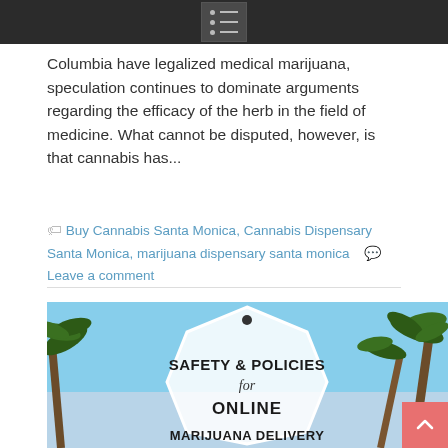[Navigation menu icon]
Columbia have legalized medical marijuana, speculation continues to dominate arguments regarding the efficacy of the herb in the field of medicine. What cannot be disputed, however, is that cannabis has...
Buy Cannabis Santa Monica, Cannabis Dispensary Santa Monica, marijuana dispensary santa monica   Leave a comment
[Figure (photo): Outdoor scene with palm trees and a hexagonal badge/tag graphic reading 'SAFETY & POLICIES for ONLINE MARIJUANA DELIVERY' against a blue sky background]